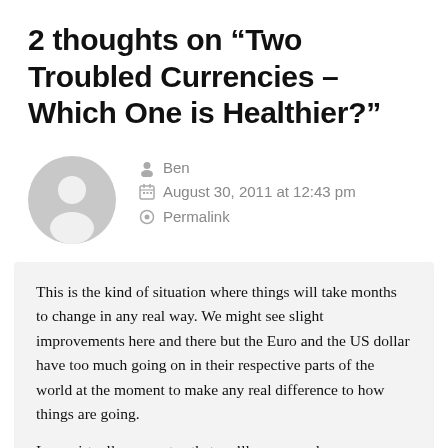2 thoughts on “Two Troubled Currencies – Which One is Healthier?”
[Figure (illustration): Gray circular avatar/user icon placeholder]
Ben
August 30, 2011 at 12:43 pm
Permalink
This is the kind of situation where things will take months to change in any real way. We might see slight improvements here and there but the Euro and the US dollar have too much going on in their respective parts of the world at the moment to make any real difference to how things are going.
I can virtually guarantee that we’ll see no real improvements to either of these for a while.